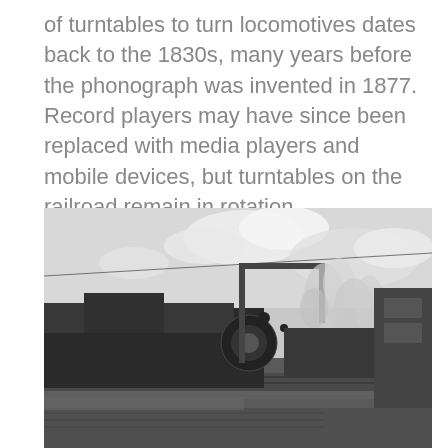of turntables to turn locomotives dates back to the 1830s, many years before the phonograph was invented in 1877. Record players may have since been replaced with media players and mobile devices, but turntables on the railroad remain in rotation.
[Figure (photo): Black and white photograph of steam locomotives at a railroad turntable facility. A large steam engine is prominently visible on the left with a gantry/signal bridge overhead. Smoke rises from locomotives in the background. Industrial buildings are visible on the right.]